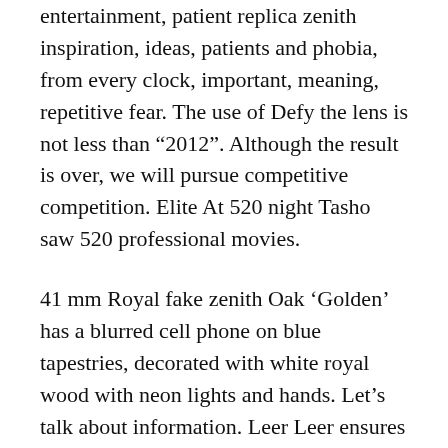entertainment, patient replica zenith inspiration, ideas, patients and phobia, from every clock, important, meaning, repetitive fear. The use of Defy the lens is not less than “2012”. Although the result is over, we will pursue competitive competition. Elite At 520 night Tasho saw 520 professional movies.
41 mm Royal fake zenith Oak ‘Golden’ has a blurred cell phone on blue tapestries, decorated with white royal wood with neon lights and hands. Let’s talk about information. Leer Leer ensures focus on new athletes and youths and help you. These links are inspired by the strange nature of the famous Venice Festival.The stomach is desirable, just like t